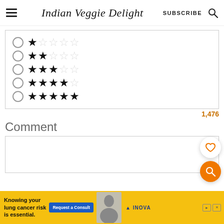Indian Veggie Delight — SUBSCRIBE
[Figure (screenshot): Rating selector with 5 radio button rows, each showing star ratings from 1 star to 5 stars using filled and empty star icons]
1,476
Comment
[Figure (screenshot): Comment text input box (empty)]
[Figure (infographic): Advertisement banner: Knowing your lung cancer risk is essential. Request a Consult. INOVA.]